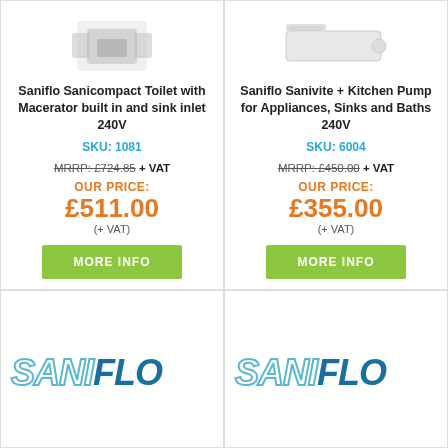[Figure (photo): Saniflo Sanicompact Toilet with Macerator product image]
Saniflo Sanicompact Toilet with Macerator built in and sink inlet 240V
SKU: 1081
MRRP: £724.85 + VAT
OUR PRICE: £511.00 (+ VAT)
MORE INFO
[Figure (photo): Saniflo Sanivite + Kitchen Pump product image]
Saniflo Sanivite + Kitchen Pump for Appliances, Sinks and Baths 240V
SKU: 6004
MRRP: £450.00 + VAT
OUR PRICE: £355.00 (+ VAT)
MORE INFO
[Figure (logo): SANIFLO logo - SANI in outline teal italic, FLO in solid dark blue italic]
[Figure (logo): SANIFLO logo - SANI in outline teal italic, FLO in solid dark blue italic]